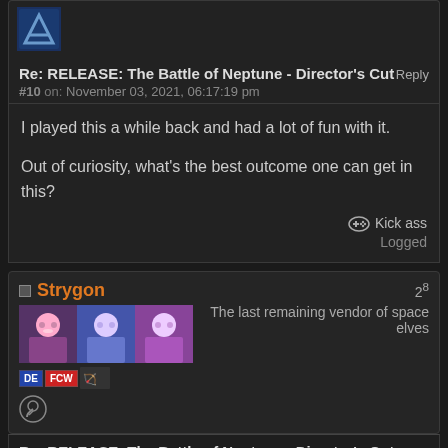[Figure (logo): AF logo icon in blue box]
Re: RELEASE: The Battle of Neptune - Director's Cut   Reply
#10 on: November 03, 2021, 06:17:19 pm
I played this a while back and had a lot of fun with it.

Out of curiosity, what's the best outcome one can get in this?
Kick ass
Logged
Strygon
2^8
The last remaining vendor of space elves
Re: RELEASE: The Battle of Neptune - Director's Cut   Reply